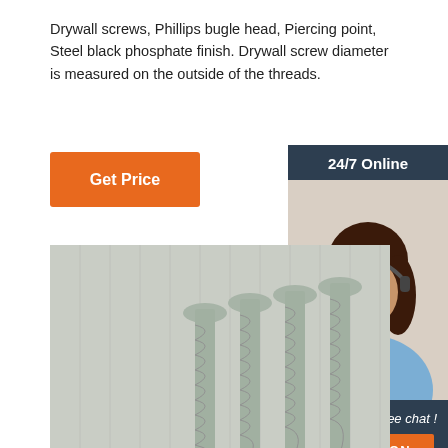Drywall screws, Phillips bugle head, Piercing point, Steel black phosphate finish. Drywall screw diameter is measured on the outside of the threads.
[Figure (other): Orange 'Get Price' button]
[Figure (other): Sidebar with '24/7 Online' header, photo of woman with headset, 'Click here for free chat!' text, and orange 'QUOTATION' button on dark navy background]
[Figure (photo): Black and white photo of multiple drywall screws with Phillips bugle heads standing upright against a brushed metal background]